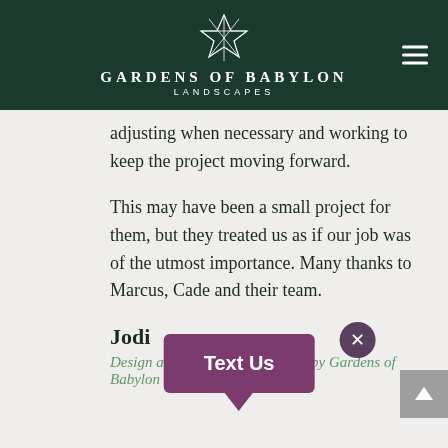[Figure (logo): Gardens of Babylon Landscapes logo with geometric star/diamond shape in white on dark green header, with hamburger menu icon on the right]
adjusting when necessary and working to keep the project moving forward.
This may have been a small project for them, but they treated us as if our job was of the utmost importance. Many thanks to Marcus, Cade and their team.
Jodi
Design and installation provided by Gardens of Babylon
[Figure (other): Purple 'Text Us' chat bubble popup with close button]